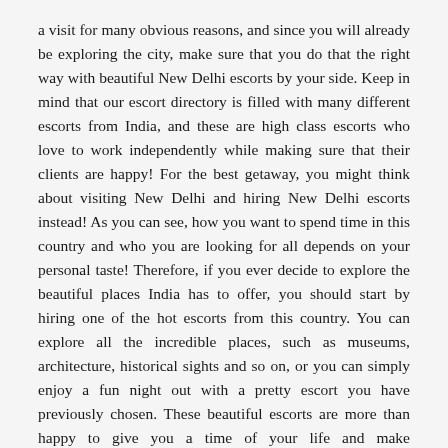a visit for many obvious reasons, and since you will already be exploring the city, make sure that you do that the right way with beautiful New Delhi escorts by your side. Keep in mind that our escort directory is filled with many different escorts from India, and these are high class escorts who love to work independently while making sure that their clients are happy! For the best getaway, you might think about visiting New Delhi and hiring New Delhi escorts instead! As you can see, how you want to spend time in this country and who you are looking for all depends on your personal taste! Therefore, if you ever decide to explore the beautiful places India has to offer, you should start by hiring one of the hot escorts from this country. You can explore all the incredible places, such as museums, architecture, historical sights and so on, or you can simply enjoy a fun night out with a pretty escort you have previously chosen. These beautiful escorts are more than happy to give you a time of your life and make unforgettable memories, so explore our escort directory and call the best escort who seems to suit your taste!
Are you looking for European escorts in India? EscortClassifiedAds.India is part of the largest advertising platform for escorts New Delhi area, giving you the best listed looking for